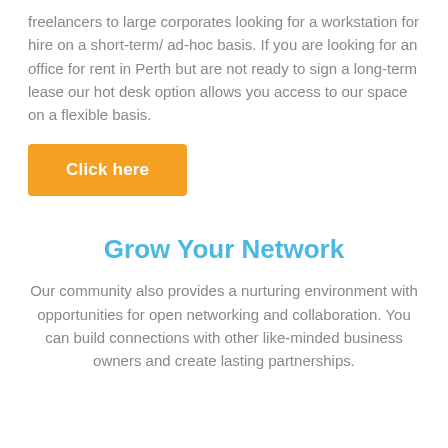freelancers to large corporates looking for a workstation for hire on a short-term/ ad-hoc basis. If you are looking for an office for rent in Perth but are not ready to sign a long-term lease our hot desk option allows you access to our space on a flexible basis.
Click here
Grow Your Network
Our community also provides a nurturing environment with opportunities for open networking and collaboration. You can build connections with other like-minded business owners and create lasting partnerships.